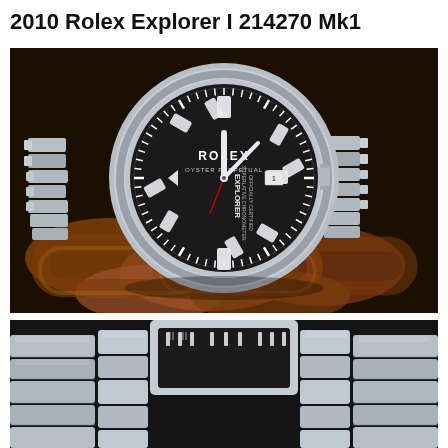2010 Rolex Explorer I 214270 Mk1
[Figure (photo): Rolex Explorer I 214270 Mk1 stainless steel watch with black dial, displayed on rusty chain links. Full view showing the Oyster bracelet and bezel.]
[Figure (photo): Close-up detail of the Rolex Explorer I 214270 Mk1 bracelet and lower portion of the case and dial, on dark background.]